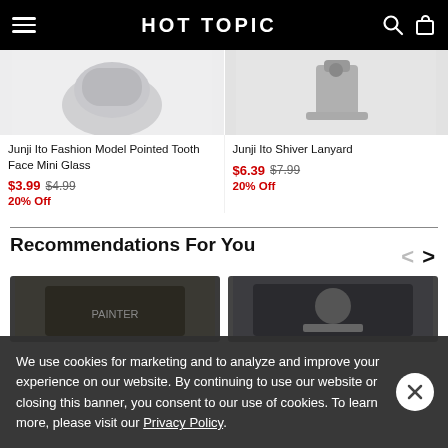HOT TOPIC
[Figure (photo): Partial view of Junji Ito Fashion Model Pointed Tooth Face Mini Glass product image on light gray background]
[Figure (photo): Partial view of Junji Ito Shiver Lanyard product image on light gray background]
Junji Ito Fashion Model Pointed Tooth Face Mini Glass
$3.99 $4.99
20% Off
Junji Ito Shiver Lanyard
$6.39 $7.99
20% Off
Recommendations For You
[Figure (photo): Partially visible product thumbnail - dark graphic t-shirt]
[Figure (photo): Partially visible product thumbnail - dark graphic t-shirt]
We use cookies for marketing and to analyze and improve your experience on our website. By continuing to use our website or closing this banner, you consent to our use of cookies. To learn more, please visit our Privacy Policy.